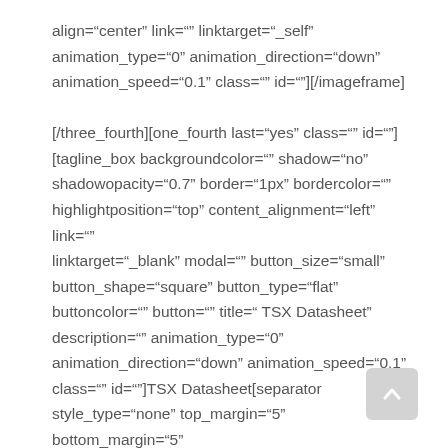align="center" link="" linktarget="_self" animation_type="0" animation_direction="down" animation_speed="0.1" class="" id=""][/imageframe]

[/three_fourth][one_fourth last="yes" class="" id=""] [tagline_box backgroundcolor="" shadow="no" shadowopacity="0.7" border="1px" bordercolor="" highlightposition="top" content_alignment="left" link="" linktarget="_blank" modal="" button_size="small" button_shape="square" button_type="flat" buttoncolor="" button="" title=" TSX Datasheet" description="" animation_type="0" animation_direction="down" animation_speed="0.1" class="" id=""]TSX Datasheet[separator style_type="none" top_margin="5" bottom_margin="5" sep_color="" icon="" width="" class="" id=""] [button